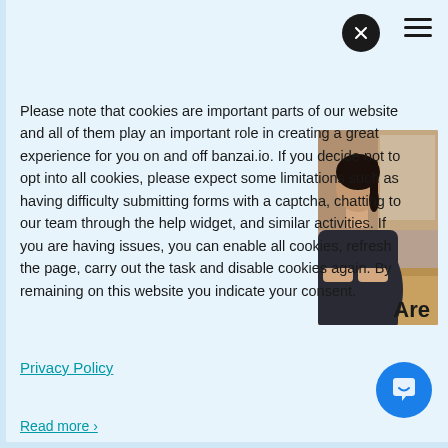Please note that cookies are important parts of our website and all of them play an important role in creating a great experience for you on and off banzai.io. If you decide not to opt into all cookies, please expect some limitations such as having difficulty submitting forms with a captcha, chatting to our team through the help widget, and similar activities. If you are having issues, you can enable all cookies, refresh the page, carry out the task and disable cookies again. By remaining on this website you indicate your consent.
[Figure (photo): A student (seen from behind) with dark hair in a ponytail, wearing a dark top, sitting at a desk.]
Are
Privacy Policy
Read more